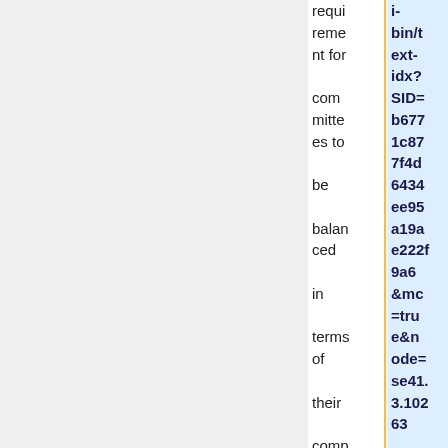| requirement for committees to be balanced in terms of their composition and the procedures appli | i-bin/text-idx?SID=b6771c877f4d6434ee95a19ae222f9a6&mc=true&node=se41.3.10263 |